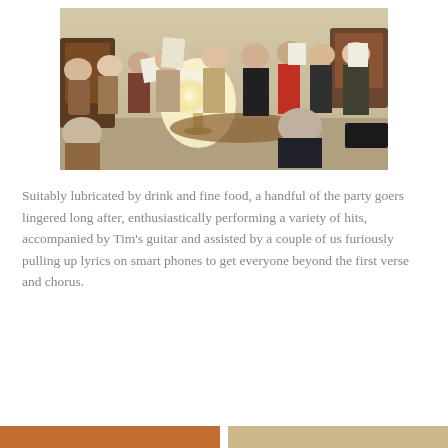[Figure (photo): Indoor group photo of many people standing and sitting in a living room, holding sheets of paper, appearing to be singing or caroling together around a lamp-lit table.]
Suitably lubricated by drink and fine food, a handful of the party goers lingered long after, enthusiastically performing a variety of hits, accompanied by Tim's guitar and assisted by a couple of us furiously pulling up lyrics on smart phones to get everyone beyond the first verse and chorus.
[Figure (photo): Bottom strip showing partial images — left half with warm brownish tones, right half with lighter tones, both cropped at the bottom edge of the page.]